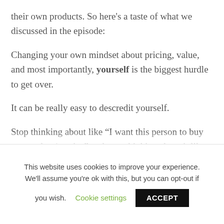their own products. So here's a taste of what we discussed in the episode:
Changing your own mindset about pricing, value, and most importantly, yourself is the biggest hurdle to get over.
It can be really easy to descredit yourself.
Stop thinking about like “I want this person to buy my product/service” and start thinking about it like this: “They get to work with me/purchase my awesome solution.”
This website uses cookies to improve your experience. We’ll assume you're ok with this, but you can opt-out if you wish. Cookie settings ACCEPT